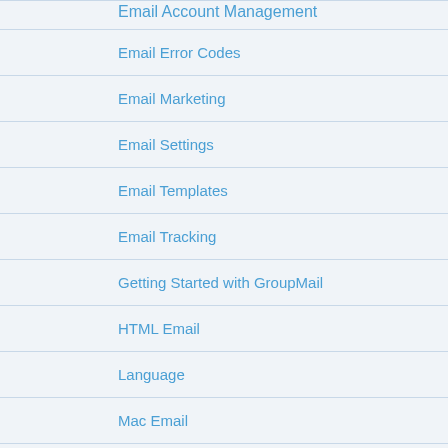Email Account Management
Email Error Codes
Email Marketing
Email Settings
Email Templates
Email Tracking
Getting Started with GroupMail
HTML Email
Language
Mac Email
Managing Email Lists
Microsoft Windows